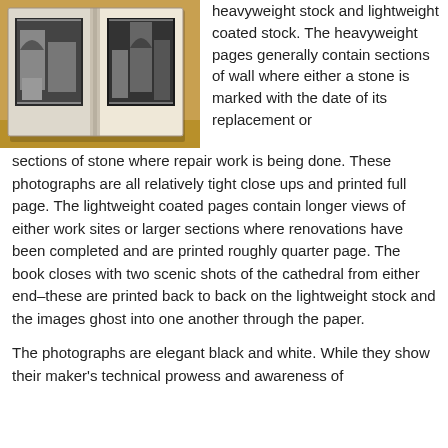[Figure (photo): Open book resting on a warm golden-brown wooden surface, showing two black-and-white photographs of architectural stonework/cathedral details, with a white spine visible in the center.]
heavyweight stock and lightweight coated stock. The heavyweight pages generally contain sections of wall where either a stone is marked with the date of its replacement or sections of stone where repair work is being done. These photographs are all relatively tight close ups and printed full page. The lightweight coated pages contain longer views of either work sites or larger sections where renovations have been completed and are printed roughly quarter page. The book closes with two scenic shots of the cathedral from either end–these are printed back to back on the lightweight stock and the images ghost into one another through the paper.
The photographs are elegant black and white. While they show their maker's technical prowess and awareness of